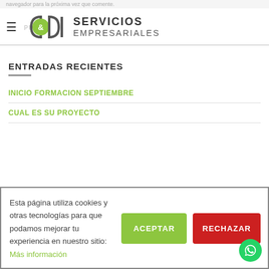navegador para la proxima vez que comente.
[Figure (logo): Logo with two D shapes, ampersand symbol in green circle, text SERVICIOS EMPRESARIALES]
ENTRADAS RECIENTES
INICIO FORMACION SEPTIEMBRE
CUAL ES SU PROYECTO
Esta página utiliza cookies y otras tecnologías para que podamos mejorar tu experiencia en nuestro sitio: Más información
ACEPTAR
RECHAZAR